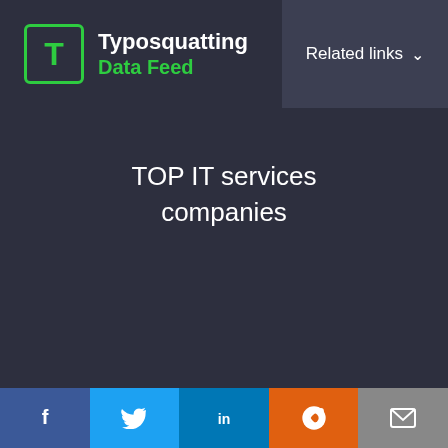Typosquatting Data Feed | Related links
TOP IT services companies
© 2014 — 2022 WHOIS API, Inc. All rights reserved. Terms of Service | Privacy Policy | Payment security and policy | Partner Apps/Integration
WhoisXML API uses cookies to provide you with the best user experience on our website. They also help us understand how our site is being used. Find out more here. By continuing to use our site you consent to the use of